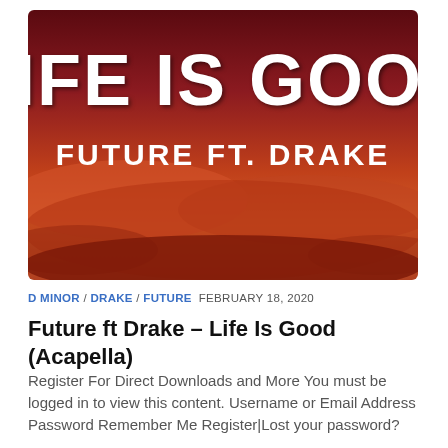[Figure (illustration): Album art for 'Life Is Good' by Future ft. Drake. Dark red/maroon and orange gradient sky background. Large white brushstroke-style text reads 'LIFE IS GOOD' at the top. Below it in bold white serif font: 'FUTURE FT. DRAKE'. Lower portion shows a dramatic orange-red cloudy sky.]
D MINOR / DRAKE / FUTURE  FEBRUARY 18, 2020
Future ft Drake – Life Is Good (Acapella)
Register For Direct Downloads and More You must be logged in to view this content. Username or Email Address Password Remember Me Register|Lost your password?